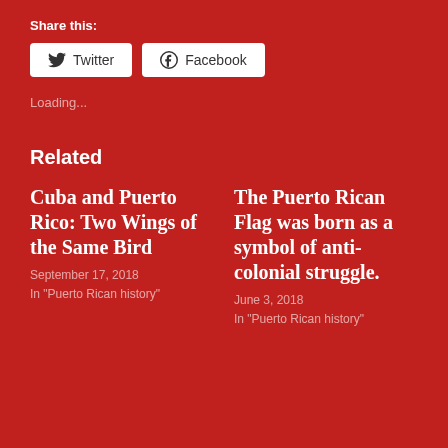Share this:
[Figure (other): Social sharing buttons for Twitter and Facebook]
Loading...
Related
Cuba and Puerto Rico: Two Wings of the Same Bird
September 17, 2018
In "Puerto Rican history"
The Puerto Rican Flag was born as a symbol of anti-colonial struggle.
June 3, 2018
In "Puerto Rican history"